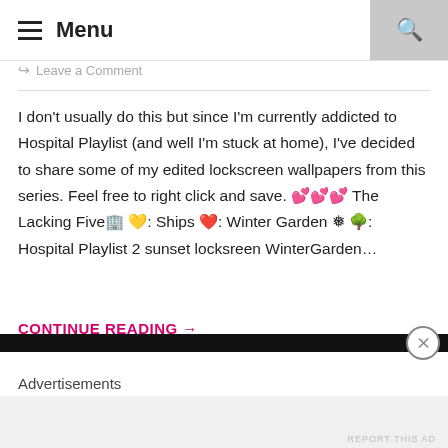Menu
Leave a Comment
I don't usually do this but since I'm currently addicted to Hospital Playlist (and well I'm stuck at home), I've decided to share some of my edited lockscreen wallpapers from this series. Feel free to right click and save. 💕💕💕 The Lacking Five🏢 💛: Ships ❤️: Winter Garden ❄️🌳: Hospital Playlist 2 sunset locksreen WinterGarden…
CONTINUE READING →
Advertisements
REPORT THIS AD